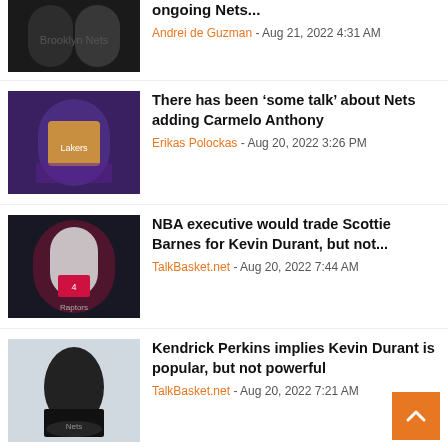ongoing Nets... | Andrei de Guzman - Aug 21, 2022 4:31 AM
There has been 'some talk' about Nets adding Carmelo Anthony | Erikas Polockas - Aug 20, 2022 3:26 PM
NBA executive would trade Scottie Barnes for Kevin Durant, but not... | TalkBasket.net - Aug 20, 2022 7:44 AM
Kendrick Perkins implies Kevin Durant is popular, but not powerful | TalkBasket.net - Aug 20, 2022 7:21 AM
Jayson Tatum Will Be Playing in Seattle At Jamal Crawford's Pro...